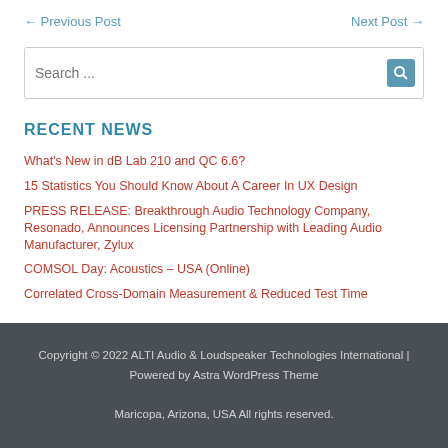← Previous Post    Next Post →
Search ...
RECENT NEWS
What's New in dB Lab 210 and QC 6.6?
15 Statistics You Should Know About A Career In UX Design
PRESS RELEASE: Breakthrough Audio Technology Company, Resonado, Announces Licensing Partnership with Leading Audio Manufacturer, Zylux
COMSOL Day: Acoustics – USA (Online)
Correlated Cross-Domain Measurement & Reduced Test Time
Copyright © 2022 ALTI Audio & Loudspeaker Technologies International | Powered by Astra WordPress Theme
Maricopa, Arizona, USA All rights reserved.